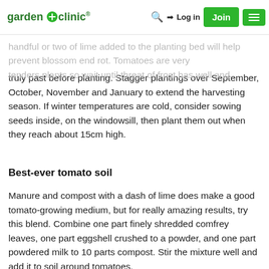garden+clinic® | Log in | Join
handful or two of lime added to the planting bed will help prevent blossom end rot. Tomatoes are very tender plants so wait until threat of frost has well and truly past before planting. Stagger plantings over September, October, November and January to extend the harvesting season. If winter temperatures are cold, consider sowing seeds inside, on the windowsill, then plant them out when they reach about 15cm high.
Best-ever tomato soil
Manure and compost with a dash of lime does make a good tomato-growing medium, but for really amazing results, try this blend. Combine one part finely shredded comfrey leaves, one part eggshell crushed to a powder, and one part powdered milk to 10 parts compost. Stir the mixture well and add it to soil around tomatoes.